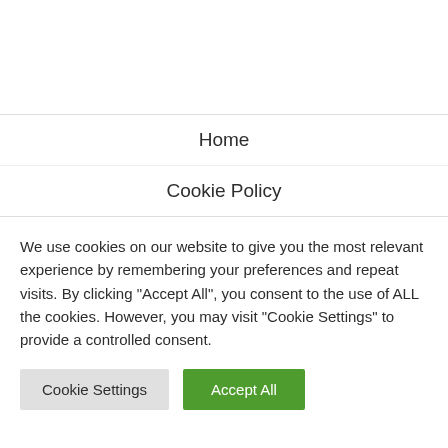Home
Cookie Policy
We use cookies on our website to give you the most relevant experience by remembering your preferences and repeat visits. By clicking "Accept All", you consent to the use of ALL the cookies. However, you may visit "Cookie Settings" to provide a controlled consent.
Cookie Settings | Accept All